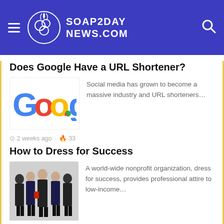SOAP2DAY NEWS.COM
Does Google Have a URL Shortener?
[Figure (logo): Google logo with colorful letters G-o-o-g on a white background]
Social media has grown to become a massive industry and URL shorteners…
2 weeks ago  🔥 33
How to Dress for Success
[Figure (photo): Group of business professionals in formal attire standing together]
A world-wide nonprofit organization, dress for success, provides professional attire to low-income…
2 weeks ago  🔥 28
Top Career Options in Android App Development